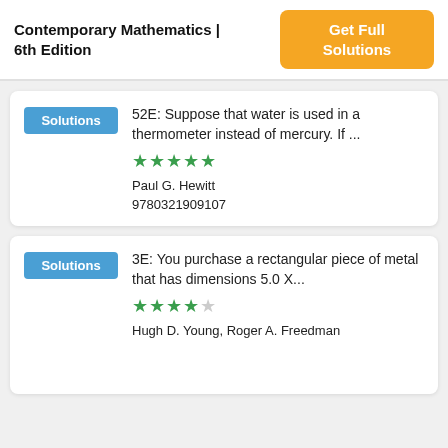Contemporary Mathematics | 6th Edition
Get Full Solutions
52E: Suppose that water is used in a thermometer instead of mercury. If ...
Paul G. Hewitt
9780321909107
3E: You purchase a rectangular piece of metal that has dimensions 5.0 X...
Hugh D. Young, Roger A. Freedman